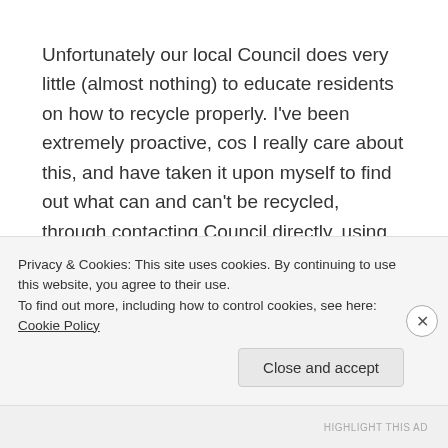Unfortunately our local Council does very little (almost nothing) to educate residents on how to recycle properly. I've been extremely proactive, cos I really care about this, and have taken it upon myself to find out what can and can't be recycled, through contacting Council directly, using info provided by Planet Ark, RedCycle, TerraCycle + other organisations who deal with this stuff.
Even just the other day I was chatting alfoil recycling with someone (not sure how that came up in
Privacy & Cookies: This site uses cookies. By continuing to use this website, you agree to their use.
To find out more, including how to control cookies, see here: Cookie Policy
Close and accept
HIGHLIGHT THIS AD